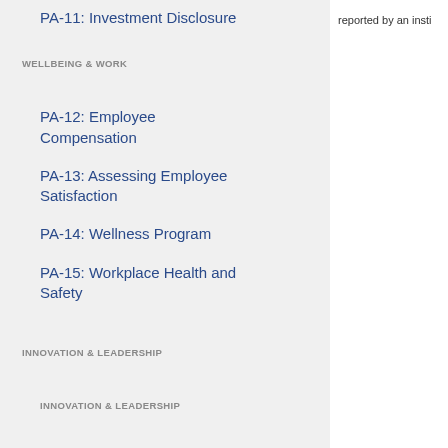PA-11: Investment Disclosure
WELLBEING & WORK
PA-12: Employee Compensation
PA-13: Assessing Employee Satisfaction
PA-14: Wellness Program
PA-15: Workplace Health and Safety
INNOVATION & LEADERSHIP
INNOVATION & LEADERSHIP
IN-1: Academy-Industry Connections
reported by an insti